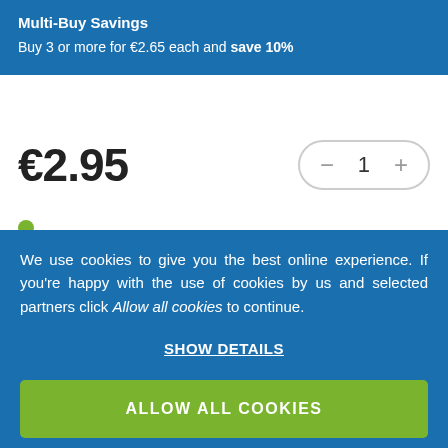Multi-Buy Savings
Buy 3 or more for €2.65 each and save 10%
€2.95
We use cookies to give you the best online experience. If you're happy with the use of cookies by us and selected partners click Allow all cookies to continue.
SHOW DETAILS
ALLOW ALL COOKIES